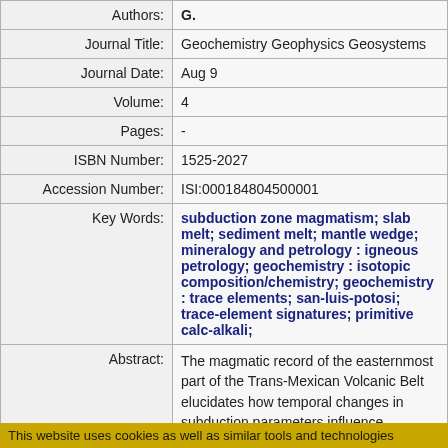| Field | Value |
| --- | --- |
| Authors: | G. |
| Journal Title: | Geochemistry Geophysics Geosystems |
| Journal Date: | Aug 9 |
| Volume: | 4 |
| Pages: | - |
| ISBN Number: | 1525-2027 |
| Accession Number: | ISI:000184804500001 |
| Key Words: | subduction zone magmatism; slab melt; sediment melt; mantle wedge; mineralogy and petrology : igneous petrology; geochemistry : isotopic composition/chemistry; geochemistry : trace elements; san-luis-potosi; trace-element signatures; primitive calc-alkali; |
| Abstract: | The magmatic record of the easternmost part of the Trans-Mexican Volcanic Belt elucidates how temporal changes in subduction parameters influence convergent margin volcanism. In the |
This website uses cookies as well as similar tools and technologies